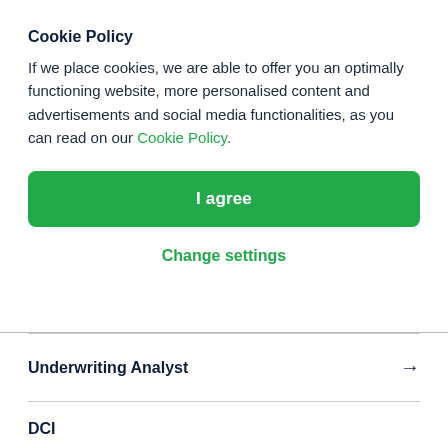Cookie Policy
If we place cookies, we are able to offer you an optimally functioning website, more personalised content and advertisements and social media functionalities, as you can read on our Cookie Policy.
I agree
Change settings
Underwriting Analyst →
DCI Analyst